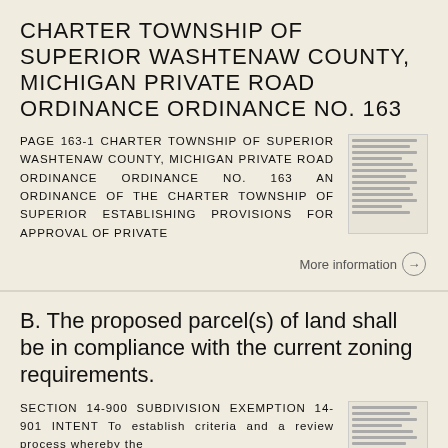CHARTER TOWNSHIP OF SUPERIOR WASHTENAW COUNTY, MICHIGAN PRIVATE ROAD ORDINANCE ORDINANCE NO. 163
PAGE 163-1 CHARTER TOWNSHIP OF SUPERIOR WASHTENAW COUNTY, MICHIGAN PRIVATE ROAD ORDINANCE ORDINANCE NO. 163 AN ORDINANCE OF THE CHARTER TOWNSHIP OF SUPERIOR ESTABLISHING PROVISIONS FOR APPROVAL OF PRIVATE
More information →
B. The proposed parcel(s) of land shall be in compliance with the current zoning requirements.
SECTION 14-900 SUBDIVISION EXEMPTION 14-901 INTENT To establish criteria and a review process whereby the